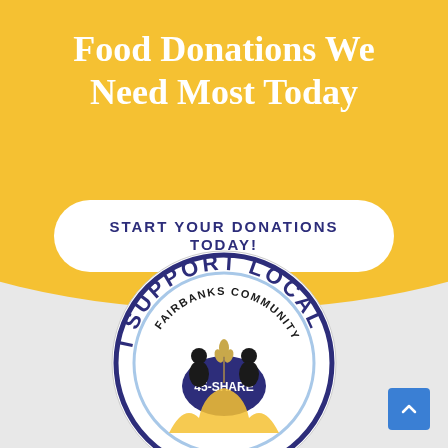Food Donations We Need Most Today
START YOUR DONATIONS TODAY!
[Figure (logo): Circular badge logo reading 'I SUPPORT LOCAL' with 'FAIRBANKS COMMUNITY 45-SHARE' and two figures with wheat in the center]